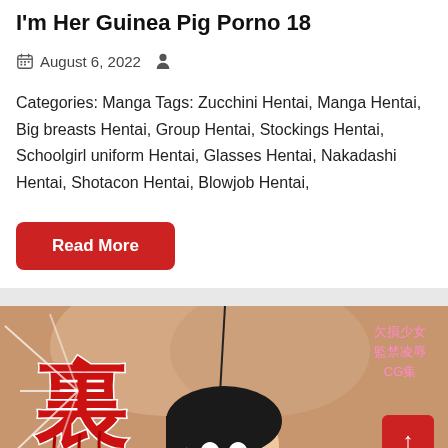I'm Her Guinea Pig Porno 18
August 6, 2022
Categories: Manga Tags: Zucchini Hentai, Manga Hentai, Big breasts Hentai, Group Hentai, Stockings Hentai, Schoolgirl uniform Hentai, Glasses Hentai, Nakadashi Hentai, Shotacon Hentai, Blowjob Hentai,
Read More
[Figure (illustration): Manga/anime style illustration showing a character with black hair and blue eyes, with Japanese text characters visible including kanji. Red and white graphic elements visible.]